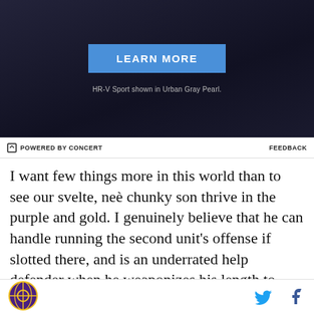[Figure (photo): Dark advertisement banner with 'LEARN MORE' blue button and caption 'HR-V Sport shown in Urban Gray Pearl.']
POWERED BY CONCERT | FEEDBACK
I want few things more in this world than to see our svelte, neè chunky son thrive in the purple and gold. I genuinely believe that he can handle running the second unit's offense if slotted there, and is an underrated help defender when he weaponizes his length to pick pockets and disrupt passing lanes. In his current form, he's exactly the kind of player where a great team can lean on him when he's got it going, but shouldn't need him to carry them every night in order to
site logo | Twitter | Facebook